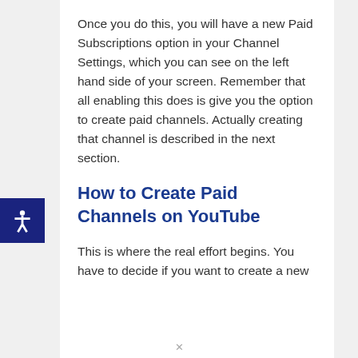Once you do this, you will have a new Paid Subscriptions option in your Channel Settings, which you can see on the left hand side of your screen. Remember that all enabling this does is give you the option to create paid channels. Actually creating that channel is described in the next section.
How to Create Paid Channels on YouTube
This is where the real effort begins. You have to decide if you want to create a new